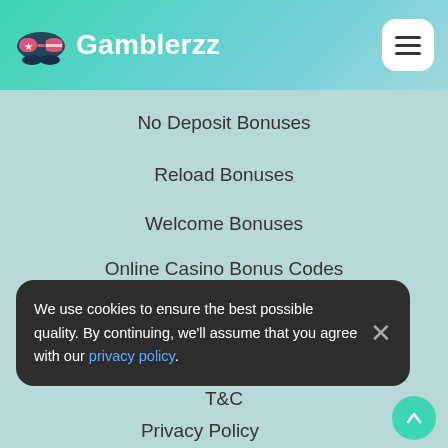Gamblerzz
No Deposit Bonuses
Reload Bonuses
Welcome Bonuses
Online Casino Bonus Codes
Online Slots Bonuses
No Wagering Bonus
We use cookies to ensure the best possible quality. By continuing, we'll assume that you agree with our privacy policy.
T&C
Privacy Policy